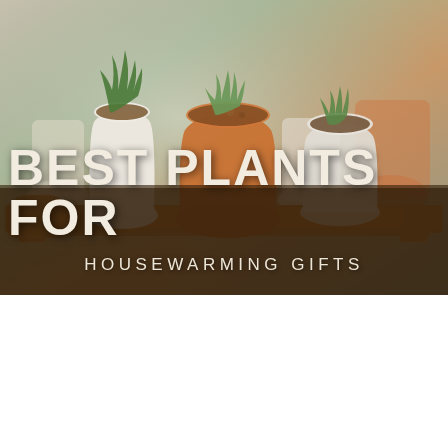[Figure (photo): Photograph of multiple potted succulents and small green plants arranged on a wooden tray/shelf. Pots include terracotta orange, white/cream, and gray colors. Background is softly blurred. A dark semi-transparent overlay covers the lower portion with bold text overlaid.]
BEST PLANTS FOR HOUSEWARMING GIFTS